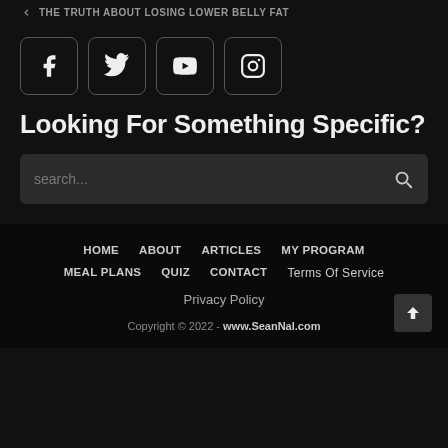THE TRUTH ABOUT LOSING LOWER BELLY FAT
[Figure (other): Four social media icon buttons: Facebook, Twitter, YouTube, Instagram — outlined rounded square boxes]
Looking For Something Specific?
[Figure (other): Search bar with placeholder text 'search...' and a magnifying glass icon on the right]
HOME  ABOUT  ARTICLES  MY PROGRAM  MEAL PLANS  QUIZ  CONTACT  Terms Of Service  Privacy Policy  Copyright © 2022 - www.SeanNal.com